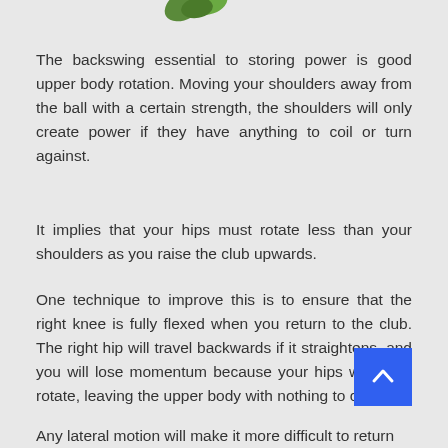[Figure (logo): Partial green leaf/logo visible at top center of page]
The backswing essential to storing power is good upper body rotation. Moving your shoulders away from the ball with a certain strength, the shoulders will only create power if they have anything to coil or turn against.
It implies that your hips must rotate less than your shoulders as you raise the club upwards.
One technique to improve this is to ensure that the right knee is fully flexed when you return to the club. The right hip will travel backwards if it straightens, and you will lose momentum because your hips will over-rotate, leaving the upper body with nothing to coil to.
Any lateral motion will make it more difficult to return